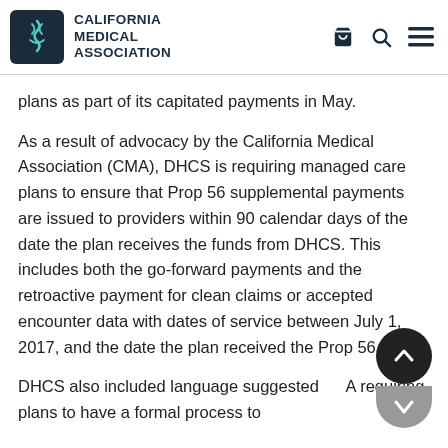CALIFORNIA MEDICAL ASSOCIATION
plans as part of its capitated payments in May.
As a result of advocacy by the California Medical Association (CMA), DHCS is requiring managed care plans to ensure that Prop 56 supplemental payments are issued to providers within 90 calendar days of the date the plan receives the funds from DHCS. This includes both the go-forward payments and the retroactive payment for clean claims or accepted encounter data with dates of service between July 1, 2017, and the date the plan received the Prop 56 fu…
DHCS also included language suggested by CMA requiring plans to have a formal process to…